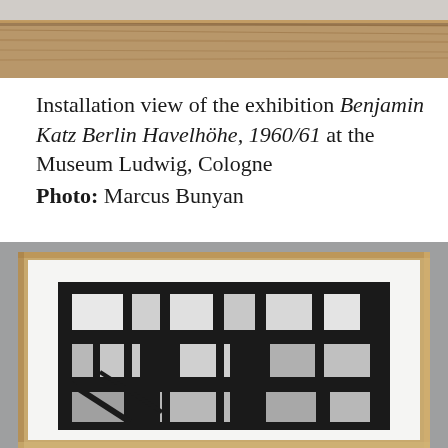[Figure (photo): Top portion of an installation view photo showing a wooden table or shelf surface against a light background]
Installation view of the exhibition Benjamin Katz Berlin Havelhöhe, 1960/61 at the Museum Ludwig, Cologne
Photo: Marcus Bunyan
[Figure (photo): Framed black and white photograph in a light wood frame showing architectural interior with geometric grid-like window patterns, displayed in a museum setting with gray walls]